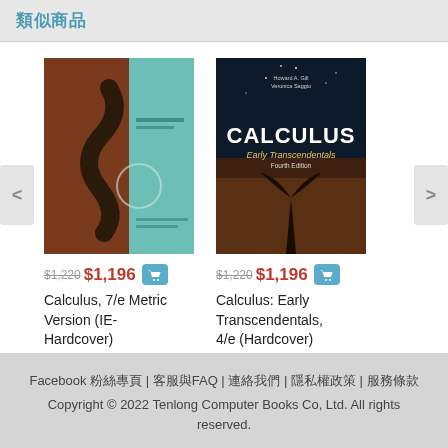類似商品
[Figure (photo): Book cover of Calculus 7/e Metric Version - shows a violin with integral symbol design, brown and teal colors]
[Figure (photo): Book cover of Calculus: Early Transcendentals 4/e - dark night sky background with CALCULUS title in large letters]
$1,220 $1,196 [cart icon] Calculus, 7/e Metric Version (IE-Hardcover)
$1,220 $1,196 [cart icon] Calculus: Early Transcendentals, 4/e (Hardcover)
Facebook 粉絲專頁 | 客服與FAQ | 連絡我們 | 隱私權政策 | 服務條款 Copyright © 2022 Tenlong Computer Books Co, Ltd. All rights reserved.